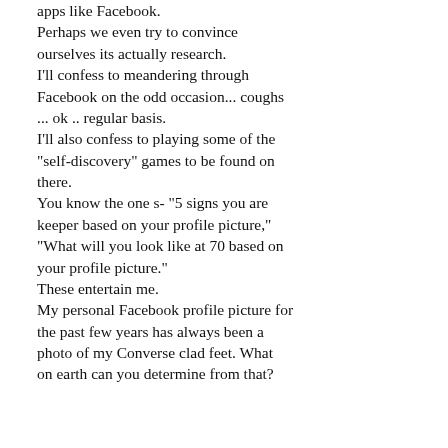apps like Facebook. Perhaps we even try to convince ourselves its actually research. I'll confess to meandering through Facebook on the odd occasion... coughs ... ok .. regular basis. I'll also confess to playing some of the "self-discovery" games to be found on there. You know the one s- "5 signs you are keeper based on your profile picture," "What will you look like at 70 based on your profile picture." These entertain me. My personal Facebook profile picture for the past few years has always been a photo of my Converse clad feet. What on earth can you determine from that?